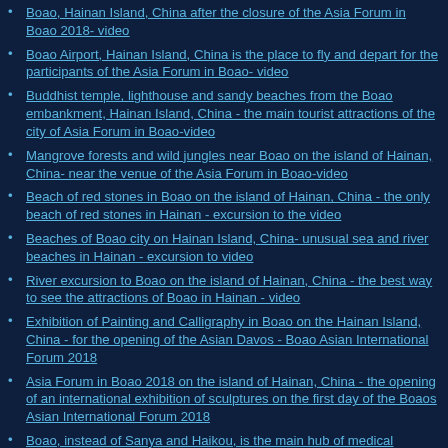Boao, Hainan Island, China after the closure of the Asia Forum in Boao 2018- video
Boao Airport, Hainan Island, China is the place to fly and depart for the participants of the Asia Forum in Boao- video
Buddhist temple, lighthouse and sandy beaches from the Boao embankment, Hainan Island, China - the main tourist attractions of the city of Asia Forum in Boao-video
Mangrove forests and wild jungles near Boao on the island of Hainan, China- near the venue of the Asia Forum in Boao-video
Beach of red stones in Boao on the island of Hainan, China - the only beach of red stones in Hainan - excursion to the video
Beaches of Boao city on Hainan Island, China- unusual sea and river beaches in Hainan - excursion to video
River excursion to Boao on the island of Hainan, China - the best way to see the attractions of Boao in Hainan - video
Exhibition of Painting and Calligraphy in Boao on the Hainan Island, China - for the opening of the Asian Davos - Boao Asian International Forum 2018
Asia Forum in Boao 2018 on the island of Hainan, China - the opening of an international exhibition of sculptures on the first day of the Boaos Asian International Forum 2018
Boao, instead of Sanya and Haikou, is the main hub of medical tourism in Hainan Island, China in 2018 after the discovery of first-class clinics and hospitals in Boao